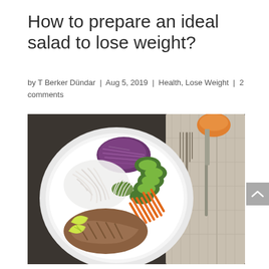How to prepare an ideal salad to lose weight?
by T Berker Dündar | Aug 5, 2019 | Health, Lose Weight | 2 comments
[Figure (photo): Overhead view of a colorful salad bowl with rice noodles, purple cabbage, sliced cucumber/avocado, shredded carrots, bean sprouts, grilled chicken, and lime wedges, placed on a dark textured surface next to a fork, knife, and linen napkin.]